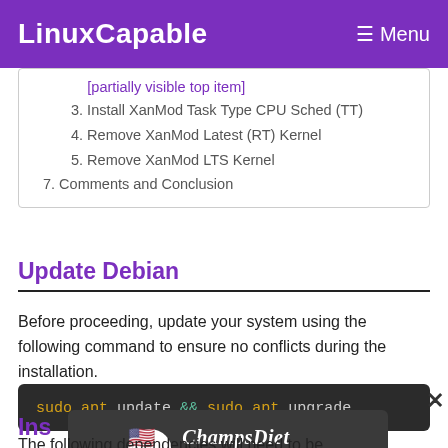LinuxCapable   Menu
3. Install XanMod Task Type CPU Sched (TT)
4. Remove XanMod Latest (RT) Kernel
5. Remove XanMod LTS Kernel
7. Comments and Conclusion
Update Debian
Before proceeding, update your system using the following command to ensure no conflicts during the installation.
[Figure (screenshot): Code block showing: sudo apt update && sudo apt upgrade on dark background]
Ins...
The following dependencies will need to be